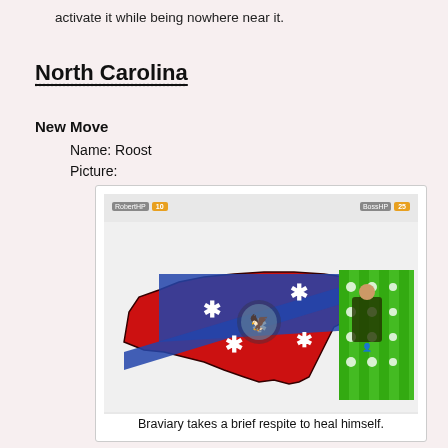activate it while being nowhere near it.
North Carolina
New Move
Name: Roost
Picture:
[Figure (screenshot): A game screenshot showing a North Carolina state map shape with a Confederate battle flag overlay design (red background with blue X and white stars), and a green striped panel on the right side showing a figure seated. HP bars at top: RobertHP 10, BossHP 25.]
Braviary takes a brief respite to heal himself.